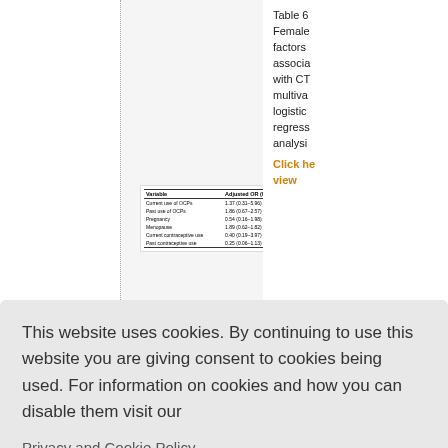Table 6 Female factors associated with CT multivariable logistic regression analysis
| Variable | Adjusted OR (95% CI) | P |
| --- | --- | --- |
| Current use of OCPs | 1.37 (0.31-5.96) | 0.69 |
| Past use of OCPs | 1.86 (0.67-2.57) | 0.37 |
| Pregnancy | 0.54 (0.16-1.98) | 0.38 |
| Menopause | 1.89 (0.62-1.82) | 0.18 |
| Current contraceptive use | 0.40 (0.19-3.97) | 0.08 |
| Past contraceptive use | 0.25 (0.06-1.13) | 0.07 |
Click here to view
This website uses cookies. By continuing to use this website you are giving consent to cookies being used. For information on cookies and how you can disable them visit our
Privacy and Cookie Policy.
AGREE & PROCEED